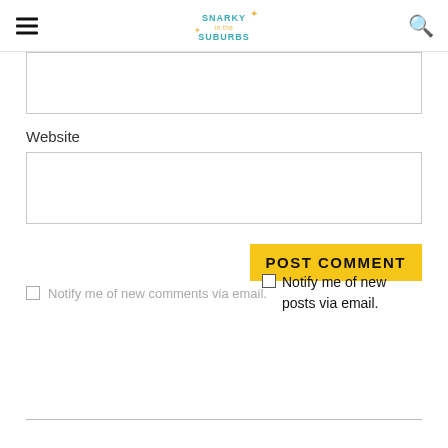Snarky in the Suburbs
Website
POST COMMENT
Notify me of new comments via email.
Notify me of new posts via email.